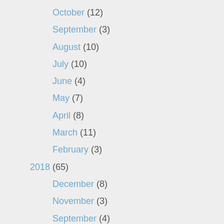October (12)
September (3)
August (10)
July (10)
June (4)
May (7)
April (8)
March (11)
February (3)
2018 (65)
December (8)
November (3)
September (4)
August (4)
July (14)
June (2)
May (1)
April (4)
March (16)
February (9)